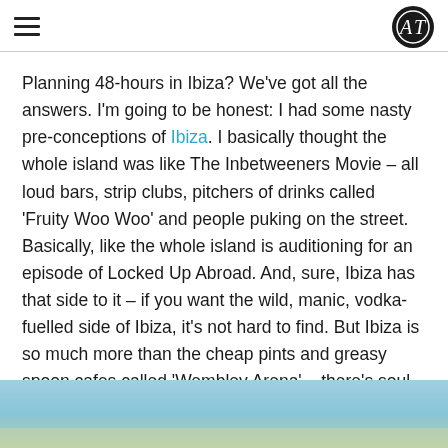≡  AT logo
Planning 48-hours in Ibiza? We've got all the answers. I'm going to be honest: I had some nasty pre-conceptions of Ibiza. I basically thought the whole island was like The Inbetweeners Movie – all loud bars, strip clubs, pitchers of drinks called 'Fruity Woo Woo' and people puking on the street. Basically, like the whole island is auditioning for an episode of Locked Up Abroad. And, sure, Ibiza has that side to it – if you want the wild, manic, vodka-fuelled side of Ibiza, it's not hard to find. But Ibiza is so much more than the cheap pints and greasy spoon cafes called 'Wembley Arena' – there's soul here, and class, and spirituality, and rugged beauty, the likes of which I've rarely seen in a destination only 2 hours from the UK.
[Figure (photo): Sky and landscape photo strip at bottom of page]